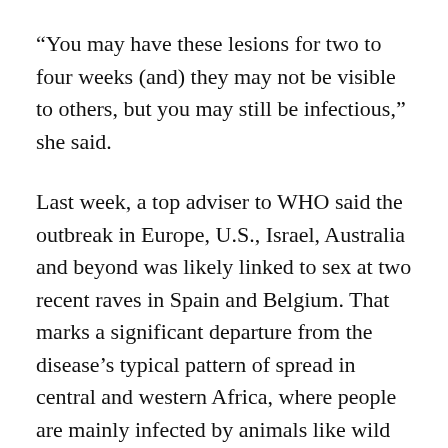“You may have these lesions for two to four weeks (and) they may not be visible to others, but you may still be infectious,” she said.
Last week, a top adviser to WHO said the outbreak in Europe, U.S., Israel, Australia and beyond was likely linked to sex at two recent raves in Spain and Belgium. That marks a significant departure from the disease’s typical pattern of spread in central and western Africa, where people are mainly infected by animals like wild